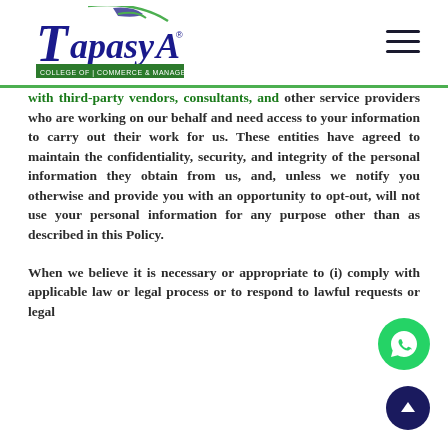Tapasya College of Commerce & Management
with third-party vendors, consultants, and other service providers who are working on our behalf and need access to your information to carry out their work for us. These entities have agreed to maintain the confidentiality, security, and integrity of the personal information they obtain from us, and, unless we notify you otherwise and provide you with an opportunity to opt-out, will not use your personal information for any purpose other than as described in this Policy.
When we believe it is necessary or appropriate to (i) comply with applicable law or legal process or to respond to lawful requests or legal